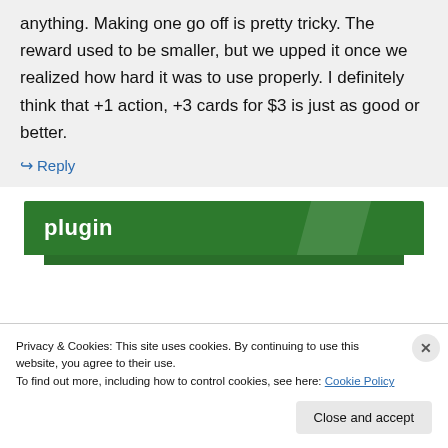anything. Making one go off is pretty tricky. The reward used to be smaller, but we upped it once we realized how hard it was to use properly. I definitely think that +1 action, +3 cards for $3 is just as good or better.
↪ Reply
[Figure (screenshot): Green 'plugin' banner header]
Privacy & Cookies: This site uses cookies. By continuing to use this website, you agree to their use.
To find out more, including how to control cookies, see here: Cookie Policy
Close and accept